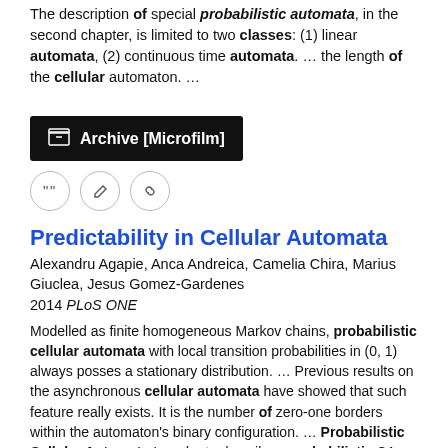The description of special probabilistic automata, in the second chapter, is limited to two classes: (1) linear automata, (2) continuous time automata.  …  the length of the cellular automaton.  …
[Figure (other): Dark button labeled 'Archive [Microfilm]' with a building/archive icon on the left]
[Figure (other): Row of three circular icon buttons: quote, edit, and link icons]
Predictability in Cellular Automata
Alexandru Agapie, Anca Andreica, Camelia Chira, Marius Giuclea, Jesus Gomez-Gardenes
2014 PLoS ONE
Modelled as finite homogeneous Markov chains, probabilistic cellular automata with local transition probabilities in (0, 1) always posses a stationary distribution.  …  Previous results on the asynchronous cellular automata have showed that such feature really exists. It is the number of zero-one borders within the automaton's binary configuration.  …  Probabilistic Cellular Automata In order to describe a probabilistic CA consider the 1-D three neighborhood automaton from the previous section, but with some randomness added to the local transition rule  …
doi:10.1371/journal.pone.0108177, pmid:25271778